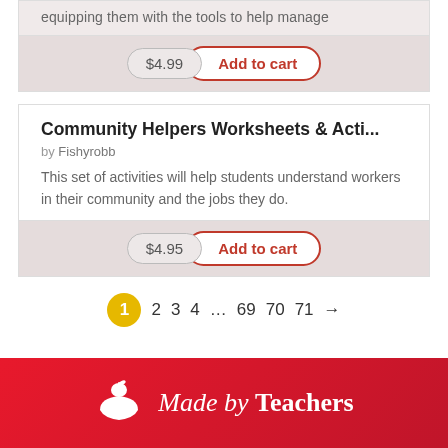equipping them with the tools to help manage
$4.99  Add to cart
Community Helpers Worksheets & Acti...
by Fishyrobb
This set of activities will help students understand workers in their community and the jobs they do.
$4.95  Add to cart
1  2  3  4  ...  69  70  71  →
Made by Teachers